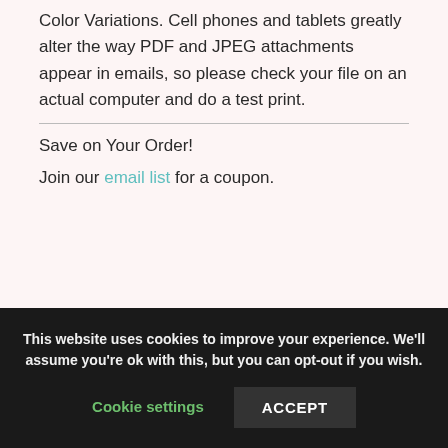Color Variations. Cell phones and tablets greatly alter the way PDF and JPEG attachments appear in emails, so please check your file on an actual computer and do a test print.
Save on Your Order!
Join our email list for a coupon.
This website uses cookies to improve your experience. We'll assume you're ok with this, but you can opt-out if you wish.
Cookie settings
ACCEPT